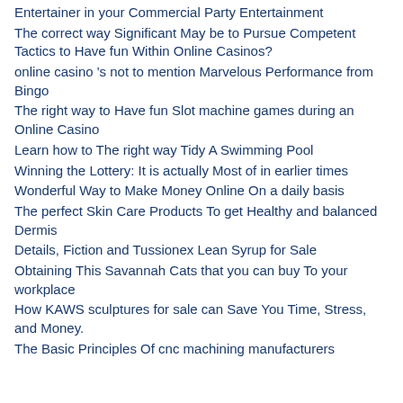Entertainer in your Commercial Party Entertainment
The correct way Significant May be to Pursue Competent Tactics to Have fun Within Online Casinos?
online casino 's not to mention Marvelous Performance from Bingo
The right way to Have fun Slot machine games during an Online Casino
Learn how to The right way Tidy A Swimming Pool
Winning the Lottery: It is actually Most of in earlier times
Wonderful Way to Make Money Online On a daily basis
The perfect Skin Care Products To get Healthy and balanced Dermis
Details, Fiction and Tussionex Lean Syrup for Sale
Obtaining This Savannah Cats that you can buy To your workplace
How KAWS sculptures for sale can Save You Time, Stress, and Money.
The Basic Principles Of cnc machining manufacturers